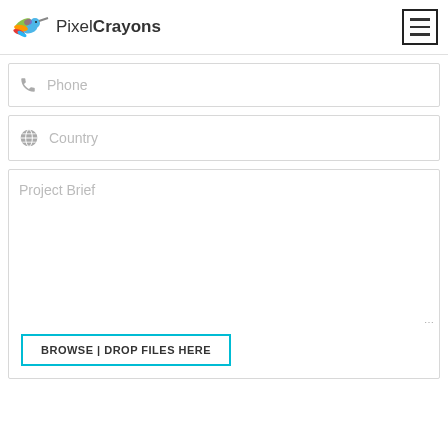PixelCrayons
Phone
Country
Project Brief
BROWSE | DROP FILES HERE